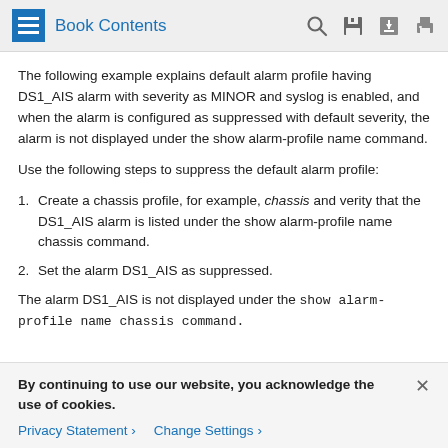Book Contents
The following example explains default alarm profile having DS1_AIS alarm with severity as MINOR and syslog is enabled, and when the alarm is configured as suppressed with default severity, the alarm is not displayed under the show alarm-profile name command.
Use the following steps to suppress the default alarm profile:
1. Create a chassis profile, for example, chassis and verity that the DS1_AIS alarm is listed under the show alarm-profile name chassis command.
2. Set the alarm DS1_AIS as suppressed.
The alarm DS1_AIS is not displayed under the show alarm-profile name chassis command.
By continuing to use our website, you acknowledge the use of cookies.
Privacy Statement > Change Settings >